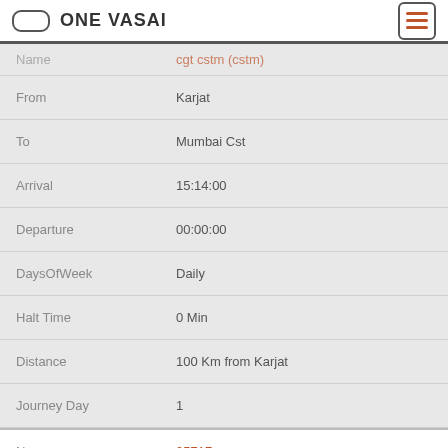ONE VASAI
| Field | Value |
| --- | --- |
| Name | cgt cstm (cstm) |
| From | Karjat |
| To | Mumbai Cst |
| Arrival | 15:14:00 |
| Departure | 00:00:00 |
| DaysOfWeek | Daily |
| Halt Time | 0 Min |
| Distance | 100 Km from Karjat |
| Journey Day | 1 |
| No | 95717 |
| Name | cstm Kyn (CSTM) |
| From | Mumbai Cst |